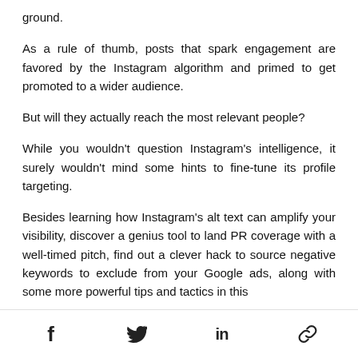ground.
As a rule of thumb, posts that spark engagement are favored by the Instagram algorithm and primed to get promoted to a wider audience.
But will they actually reach the most relevant people?
While you wouldn't question Instagram's intelligence, it surely wouldn't mind some hints to fine-tune its profile targeting.
Besides learning how Instagram's alt text can amplify your visibility, discover a genius tool to land PR coverage with a well-timed pitch, find out a clever hack to source negative keywords to exclude from your Google ads, along with some more powerful tips and tactics in this
f  [twitter bird]  in  [link icon]